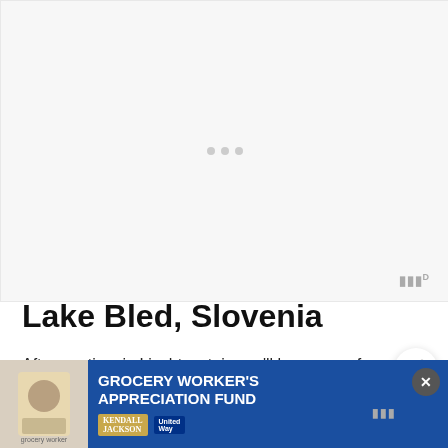[Figure (other): Advertisement placeholder area with light gray background and three small dots in the center, indicating a loading or empty ad unit]
Lake Bled, Slovenia
After our time in Liechtenstein, we'll have one of our longest tr… days: an approximate six hour drive to Slovenia. We plan to do the … (Swarovski) bea… …into
[Figure (other): Grocery Worker's Appreciation Fund advertisement banner featuring Kendall-Jackson and United Way logos with a photo of a grocery worker]